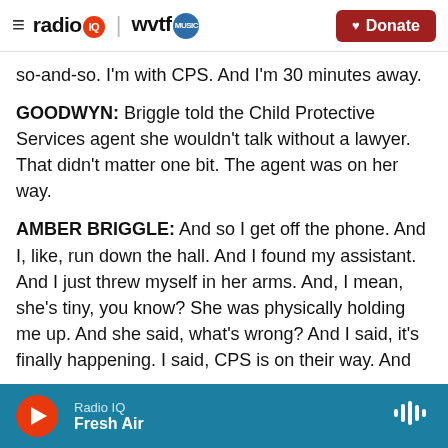radio IQ | wvtf MUSIC — Donate
so-and-so. I'm with CPS. And I'm 30 minutes away.
GOODWYN: Briggle told the Child Protective Services agent she wouldn't talk without a lawyer. That didn't matter one bit. The agent was on her way.
AMBER BRIGGLE: And so I get off the phone. And I, like, run down the hall. And I found my assistant. And I just threw myself in her arms. And, I mean, she's tiny, you know? She was physically holding me up. And she said, what's wrong? And I said, it's finally happening. I said, CPS is on their way. And the door was just about to begin from grace. And
Radio IQ — Fresh Air